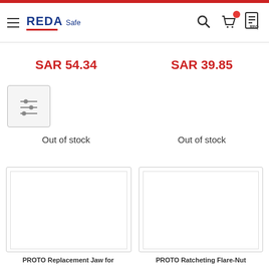REDA Safe navigation header
SAR 54.34
SAR 39.85
Out of stock
Out of stock
[Figure (illustration): Product image placeholder (empty white box with border)]
[Figure (illustration): Product image placeholder (empty white box with border)]
PROTO Replacement Jaw for
PROTO Ratcheting Flare-Nut